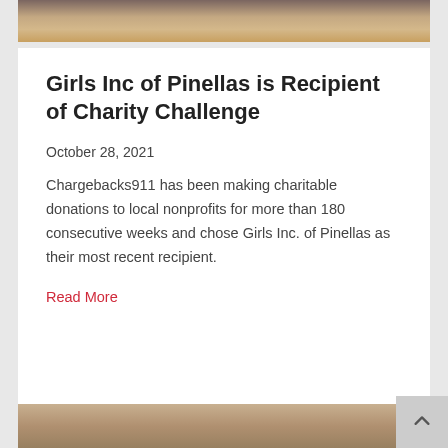[Figure (photo): Top portion of a photo showing people, cropped at top of page]
Girls Inc of Pinellas is Recipient of Charity Challenge
October 28, 2021
Chargebacks911 has been making charitable donations to local nonprofits for more than 180 consecutive weeks and chose Girls Inc. of Pinellas as their most recent recipient.
Read More
[Figure (photo): Bottom partial photo, appears to show a wooden surface, cropped at bottom of page]